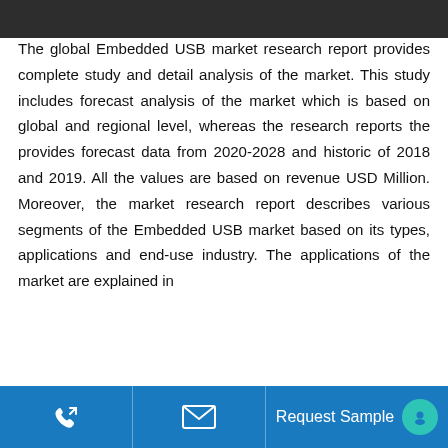The global Embedded USB market research report provides complete study and detail analysis of the market. This study includes forecast analysis of the market which is based on global and regional level, whereas the research reports the provides forecast data from 2020-2028 and historic of 2018 and 2019. All the values are based on revenue USD Million. Moreover, the market research report describes various segments of the Embedded USB market based on its types, applications and end-use industry. The applications of the market are explained in
Request Sample